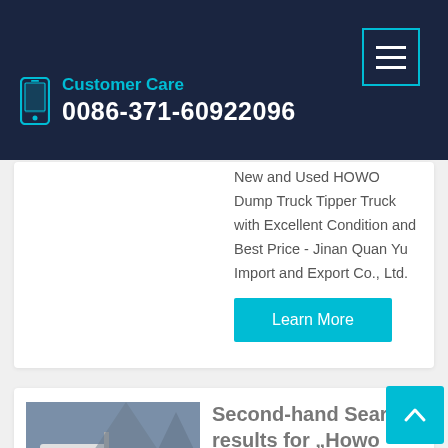Customer Care 0086-371-60922096
New and Used HOWO Dump Truck Tipper Truck with Excellent Condition and Best Price - Jinan Quan Yu Import and Export Co., Ltd.
Learn More
Second-hand Search results for „Howo Dump 6 4 Truck
Kefid · China Used HOWO 6X4 Dump Truck Tipper Truck for Sale . Used